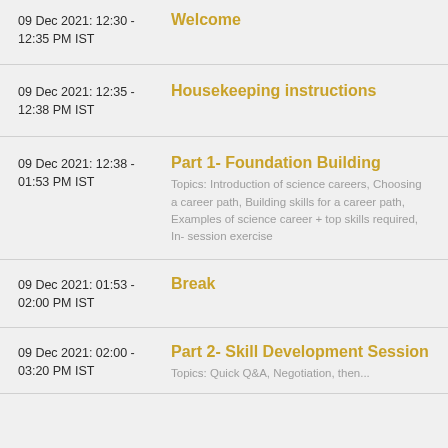09 Dec 2021: 12:30 - 12:35 PM IST | Welcome
09 Dec 2021: 12:35 - 12:38 PM IST | Housekeeping instructions
09 Dec 2021: 12:38 - 01:53 PM IST | Part 1- Foundation Building. Topics: Introduction of science careers, Choosing a career path, Building skills for a career path, Examples of science career + top skills required, In- session exercise
09 Dec 2021: 01:53 - 02:00 PM IST | Break
09 Dec 2021: 02:00 - 03:20 PM IST | Part 2- Skill Development Session. Topics: Quick Q&A, Negotiation, then...